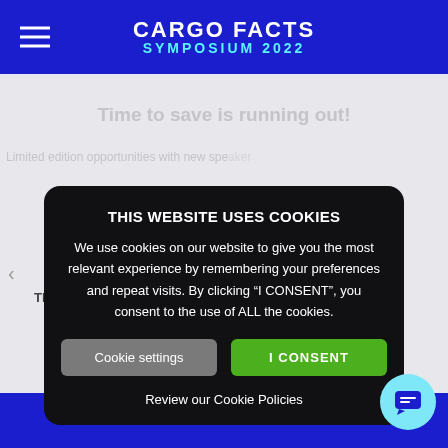[Figure (screenshot): Cargo Facts Symposium 2022 website header with blue navigation bar, hamburger menu icon on left, and logo text in center]
THIS WEBSITE USES COOKIES
We use cookies on our website to give you the most relevant experience by remembering your preferences and repeat visits. By clicking "I CONSENT", you consent to the use of ALL the cookies.
Cookie settings
I CONSENT
Review our Cookie Policies